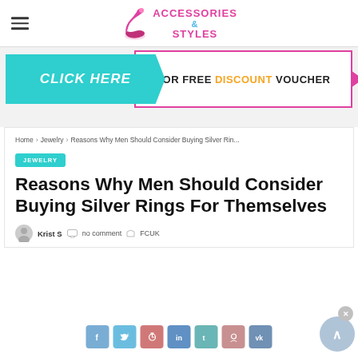[Figure (logo): Accessories & Styles website logo with high heel shoe icon, pink and teal text]
[Figure (infographic): Click Here for Free Discount Voucher banner — teal left panel with italic white text 'CLICK HERE', pink-bordered right panel with text 'FOR FREE DISCOUNT VOUCHER' where DISCOUNT is in orange]
Home > Jewelry > Reasons Why Men Should Consider Buying Silver Rin...
JEWELRY
Reasons Why Men Should Consider Buying Silver Rings For Themselves
Krist S   no comment   FCUK